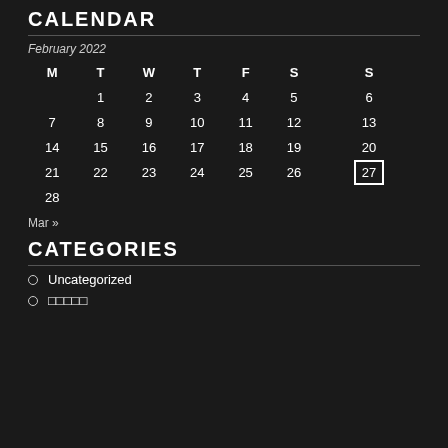CALENDAR
February 2022
| M | T | W | T | F | S | S |
| --- | --- | --- | --- | --- | --- | --- |
|  | 1 | 2 | 3 | 4 | 5 | 6 |
| 7 | 8 | 9 | 10 | 11 | 12 | 13 |
| 14 | 15 | 16 | 17 | 18 | 19 | 20 |
| 21 | 22 | 23 | 24 | 25 | 26 | 27 |
| 28 |  |  |  |  |  |  |
Mar »
CATEGORIES
Uncategorized
□□□□□